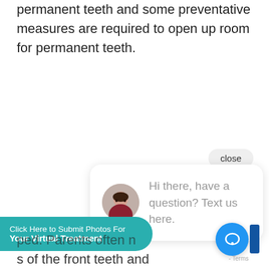permanent teeth and some preventative measures are required to open up room for permanent teeth.
[Figure (screenshot): Chat widget with close button, avatar photo of a woman, and message: Hi there, have a question? Text us here.]
ped. Parents often n...s of the front teeth and
[Figure (screenshot): Teal button: Click Here to Submit Photos For Your Virtual Treatment]
[Figure (screenshot): Blue chat icon circle button with speech bubble icon, and Terms label]